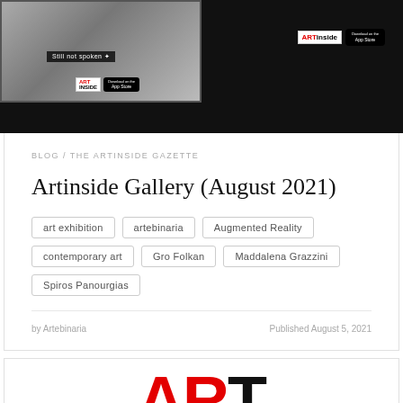[Figure (screenshot): Top banner with dark background showing a photo of artwork on left, 'Still not spoken' overlay text, ART Inside logo and App Store badge on right side]
BLOG / THE ARTINSIDE GAZETTE
Artinside Gallery (August 2021)
art exhibition
artebinaria
Augmented Reality
contemporary art
Gro Folkan
Maddalena Grazzini
Spiros Panourgias
by Artebinaria
Published August 5, 2021
[Figure (logo): Large ART logo with A and R in red, T in black, partial view at bottom of page]